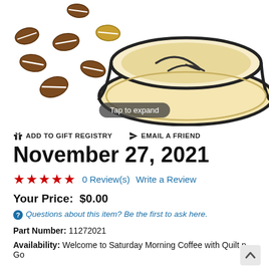[Figure (illustration): Partial illustration of a coffee cup with coffee beans scattered around it, viewed from above. A 'Tap to expand' tooltip overlay is visible.]
ADD TO GIFT REGISTRY   EMAIL A FRIEND
November 27, 2021
★★★★★  0 Review(s)  Write a Review
Your Price:  $0.00
Questions about this item? Be the first to ask here.
Part Number: 11272021
Availability: Welcome to Saturday Morning Coffee with Quilt n Go